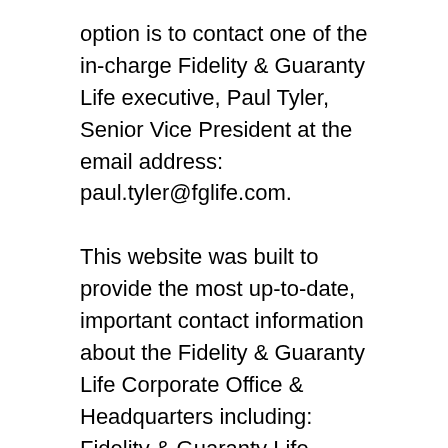option is to contact one of the in-charge Fidelity & Guaranty Life executive, Paul Tyler, Senior Vice President at the email address: paul.tyler@fglife.com.
This website was built to provide the most up-to-date, important contact information about the Fidelity & Guaranty Life Corporate Office & Headquarters including: Fidelity & Guaranty Life Address, Corporate Number, Human Resources and more.
This headquarterscontacts.com website is a leading independent hub that has no